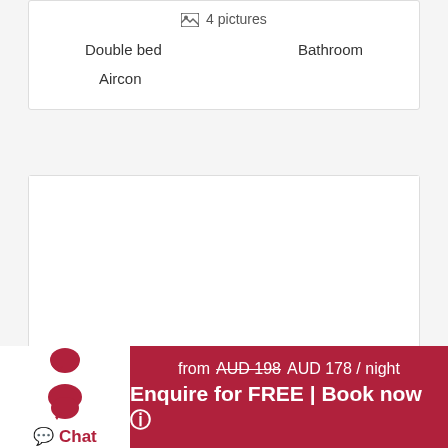4 pictures
Double bed
Bathroom
Aircon
[Figure (photo): Bedroom 3 room photo area (blank/white in this crop)]
Bedroom 3
4 pictures
Double bed
Bathroom
Chat
from AUD 198 AUD 178 / night
Enquire for FREE | Book now